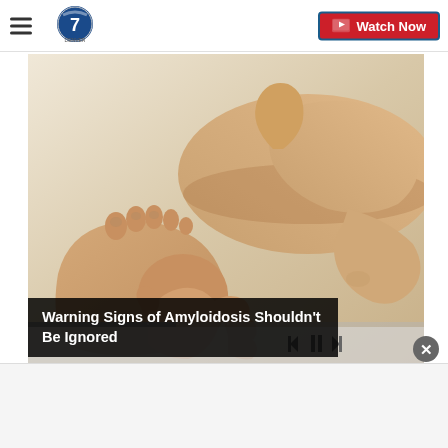Denver7 ABC — Watch Now
[Figure (screenshot): Video thumbnail showing hands pressing/squeezing a swollen ankle and foot against a white background. Video player controls visible at bottom.]
Warning Signs of Amyloidosis Shouldn't Be Ignored